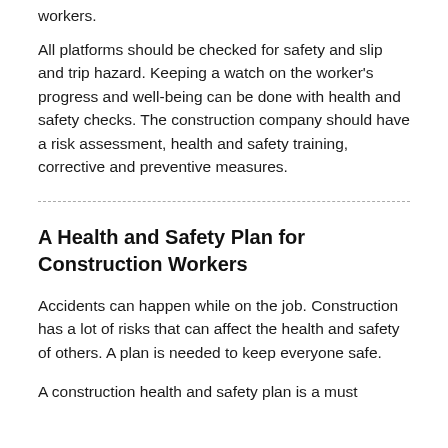workers.
All platforms should be checked for safety and slip and trip hazard. Keeping a watch on the worker's progress and well-being can be done with health and safety checks. The construction company should have a risk assessment, health and safety training, corrective and preventive measures.
A Health and Safety Plan for Construction Workers
Accidents can happen while on the job. Construction has a lot of risks that can affect the health and safety of others. A plan is needed to keep everyone safe.
A construction health and safety plan is a must